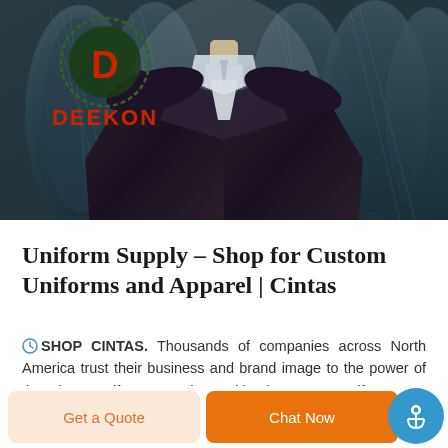[Figure (photo): Photo of a dark suit jacket on a mannequin displayed against rolls of dark blue/grey fabric. A circular logo with 'D' and 'DEEKON' text in red is visible in the upper left corner.]
Uniform Supply – Shop for Custom Uniforms and Apparel | Cintas
SHOP CINTAS. Thousands of companies across North America trust their business and brand image to the power of the Cintas Uniform. See the positive impact our uniforms can have on your customers and staff